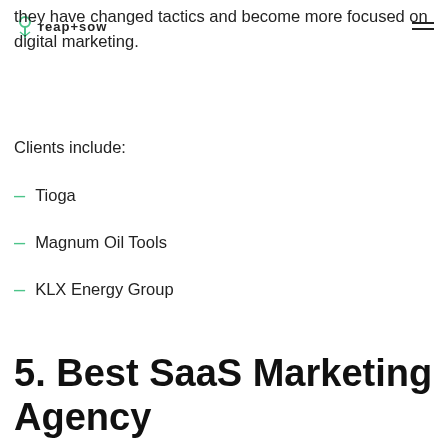reap+sow
they have changed tactics and become more focused on digital marketing.
Clients include:
Tioga
Magnum Oil Tools
KLX Energy Group
5. Best SaaS Marketing Agency